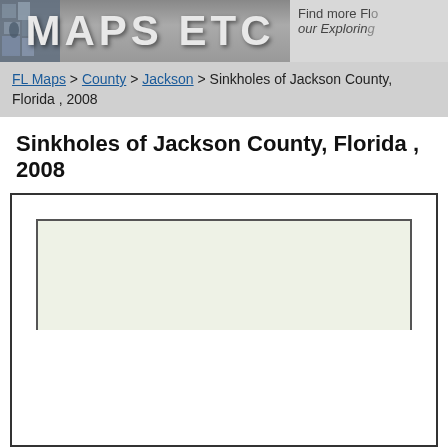[Figure (logo): Maps ETC website header banner with logo text MAPS ETC and background imagery]
Find more Fl... our Explori...
FL Maps > County > Jackson > Sinkholes of Jackson County, Florida , 2008
Sinkholes of Jackson County, Florida , 2008
[Figure (map): Partial map of Jackson County Florida showing sinkholes, with light green background area and white lower section within a double-bordered frame]